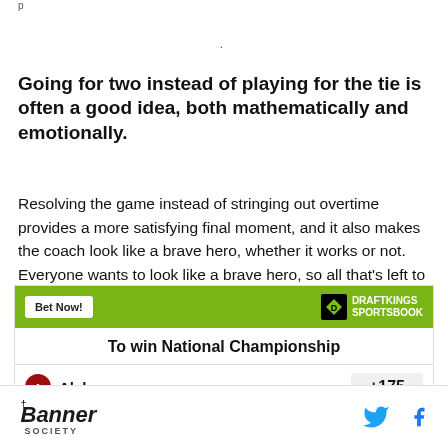Going for two instead of playing for the tie is often a good idea, both mathematically and emotionally.
Resolving the game instead of stringing out overtime provides a more satisfying final moment, and it also makes the coach look like a brave hero, whether it works or not. Everyone wants to look like a brave hero, so all that's left to do is pick a play.
[Figure (other): DraftKings Sportsbook betting widget showing 'To win National Championship' with Alabama listed at +175 odds]
Banner Society | Twitter | Facebook